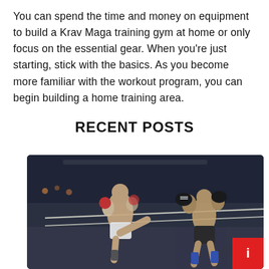You can spend the time and money on equipment to build a Krav Maga training gym at home or only focus on the essential gear. When you're just starting, stick with the basics. As you become more familiar with the workout program, you can begin building a home training area.
RECENT POSTS
[Figure (photo): Two Muay Thai fighters in a boxing ring during a match. The fighter on the left is throwing a kick, wearing white shorts with tattoos on his leg. The fighter on the right is in a defensive stance holding up gloves. The arena has spectators in the background and overhead lighting.]